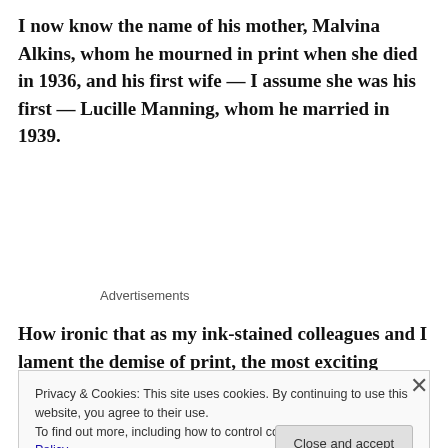I now know the name of his mother, Malvina Alkins, whom he mourned in print when she died in 1936, and his first wife — I assume she was his first — Lucille Manning, whom he married in 1939.
Advertisements
How ironic that as my ink-stained colleagues and I lament the demise of print, the most exciting development in my life as a journalist involves
Privacy & Cookies: This site uses cookies. By continuing to use this website, you agree to their use.
To find out more, including how to control cookies, see here: Cookie Policy